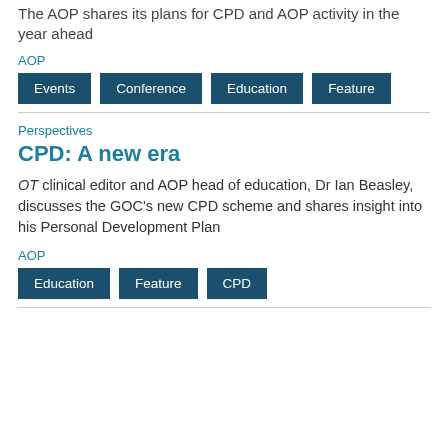The AOP shares its plans for CPD and AOP activity in the year ahead
AOP
Events
Conference
Education
Feature
Perspectives
CPD: A new era
OT clinical editor and AOP head of education, Dr Ian Beasley, discusses the GOC's new CPD scheme and shares insight into his Personal Development Plan
AOP
Education
Feature
CPD